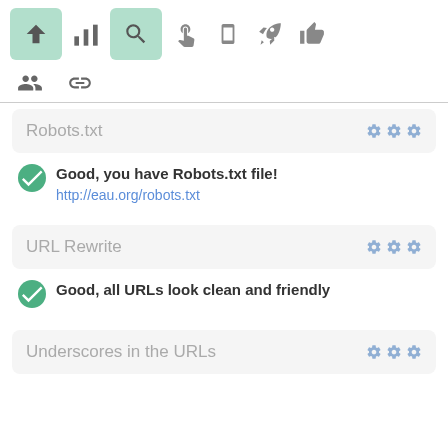[Figure (screenshot): Toolbar row 1 with navigation icons: up arrow (active/green), bar chart, search (active/green), cursor, mobile, rocket, thumbs up]
[Figure (screenshot): Toolbar row 2 with two icons: group/users and chain link]
Robots.txt
Good, you have Robots.txt file!
http://eau.org/robots.txt
URL Rewrite
Good, all URLs look clean and friendly
Underscores in the URLs